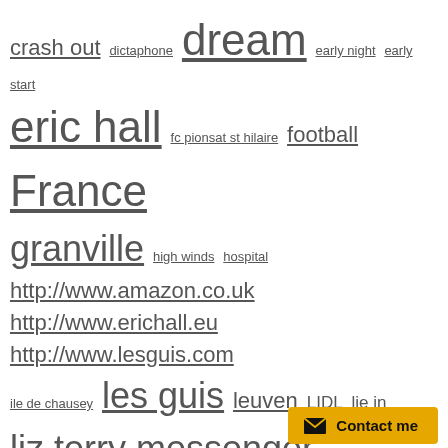crash out dictaphone dream early night early start eric hall fc pionsat st hilaire football France granville high winds hospital http://www.amazon.co.uk http://www.erichall.eu http://www.lesguis.com ile de chausey les guis leuven LIDL lie in liz terry messenger pionsat place d'armes plat gousset pointe du roc radio anglais rainstorm rosemary rue du nord sauret besserve shower strawberry moose tidying up trawler vegan pizza
****THE IMPORTANT BIT****
If you have enjoyed or profited from these pages, please make your next puchase from Amazon via one of the links below or in the text aside. As an Amazon Associate I receive a small commission from
Contact me